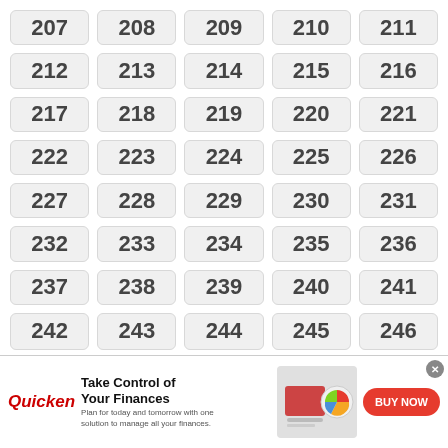[Figure (other): Grid of numbered cells from 207 to 246 (partial), arranged in 5 columns and 8 rows. Each number displayed in a rounded rectangle with gray background.]
[Figure (infographic): Quicken advertisement banner: 'Take Control of Your Finances' with tagline 'Plan for today and tomorrow with one solution to manage all your finances.' Shows a woman at a laptop, Quicken logo, and a BUY NOW button.]